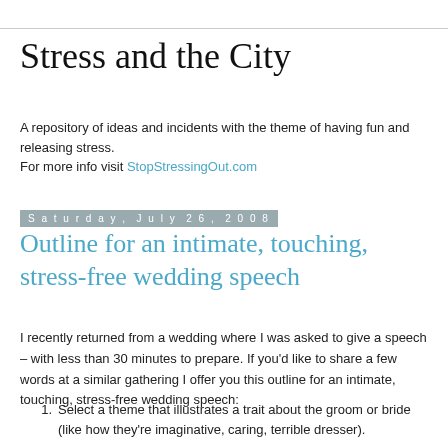Stress and the City
A repository of ideas and incidents with the theme of having fun and releasing stress.
For more info visit StopStressingOut.com
Saturday, July 26, 2008
Outline for an intimate, touching, stress-free wedding speech
I recently returned from a wedding where I was asked to give a speech – with less than 30 minutes to prepare. If you'd like to share a few words at a similar gathering I offer you this outline for an intimate, touching, stress-free wedding speech:
Select a theme that illustrates a trait about the groom or bride (like how they're imaginative, caring, terrible dresser).